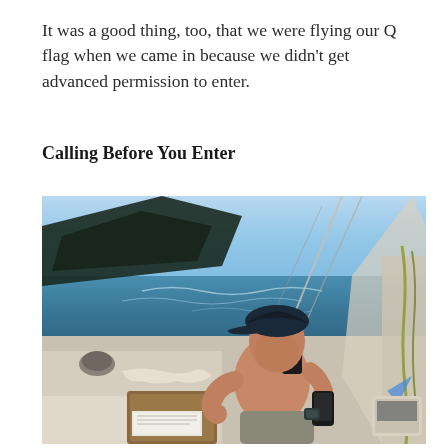It was a good thing, too, that we were flying our Q flag when we came in because we didn't get advanced permission to enter.
Calling Before You Enter
[Figure (photo): A shirtless man wearing a dark baseball cap and a watch, holding a radio or phone to his mouth, sitting in the cockpit of a sailboat at sea. The ocean and blue sky are visible in the background. The boat has various sailing equipment visible including ropes and rigging.]